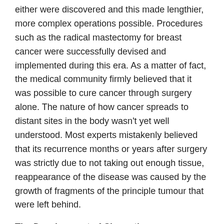either were discovered and this made lengthier, more complex operations possible. Procedures such as the radical mastectomy for breast cancer were successfully devised and implemented during this era. As a matter of fact, the medical community firmly believed that it was possible to cure cancer through surgery alone. The nature of how cancer spreads to distant sites in the body wasn't yet well understood. Most experts mistakenly believed that its recurrence months or years after surgery was strictly due to not taking out enough tissue, reappearance of the disease was caused by the growth of fragments of the principle tumour that were left behind.
The Development of Chemotherapy
The nature of